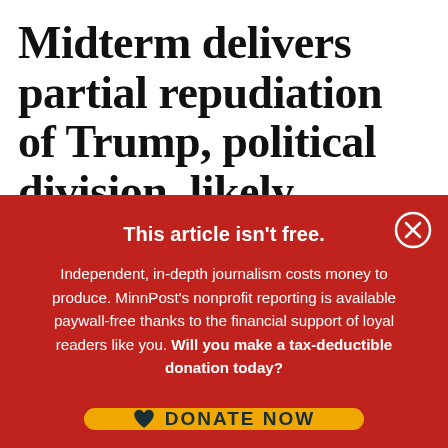Midterm delivers partial repudiation of Trump, political division, likely gridlock
This article isn't free.
Independent, in-depth journalism costs money to produce. MinnPost's nonprofit reporting is available paywall-free thanks to the financial support of loyal readers like you. Will you make a tax-deductible donation today?
DONATE NOW